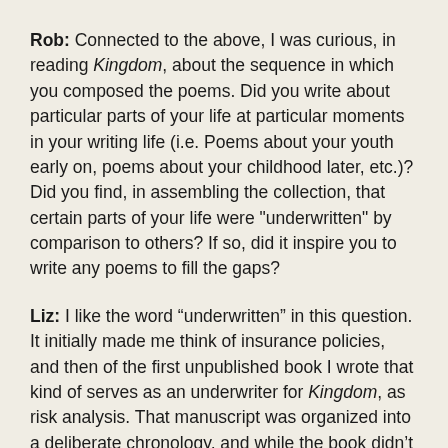Rob: Connected to the above, I was curious, in reading Kingdom, about the sequence in which you composed the poems. Did you write about particular parts of your life at particular moments in your writing life (i.e. Poems about your youth early on, poems about your childhood later, etc.)? Did you find, in assembling the collection, that certain parts of your life were "underwritten" by comparison to others? If so, did it inspire you to write any poems to fill the gaps?
Liz: I like the word “underwritten” in this question. It initially made me think of insurance policies, and then of the first unpublished book I wrote that kind of serves as an underwriter for Kingdom, as risk analysis. That manuscript was organized into a deliberate chronology, and while the book didn’t work out, writing it helped me write Kingdom. "Underwriting" also makes me think about how various parts of life – like you say, childhood, places, people and their...